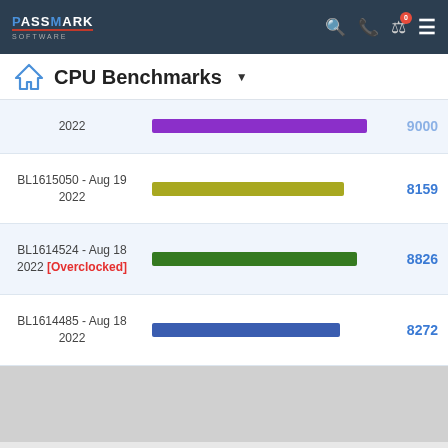PassMark Software - CPU Benchmarks
CPU Benchmarks
[Figure (bar-chart): CPU Benchmarks]